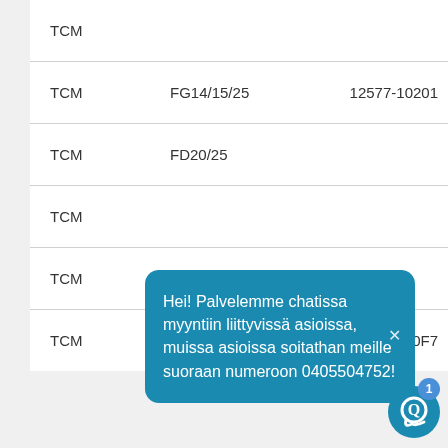|  |  |  |
| --- | --- | --- |
| TCM |  |  |
| TCM | FG14/15/25 | 12577-10201 |
| TCM | FD20/25 |  |
| TCM |  |  |
| TCM |  |  |
| TCM |  | 110F7… |
Hei! Palvelemme chatissa myyntiin liittyvissä asioissa, muissa asioissa soitathan meille suoraan numeroon 0405504752!